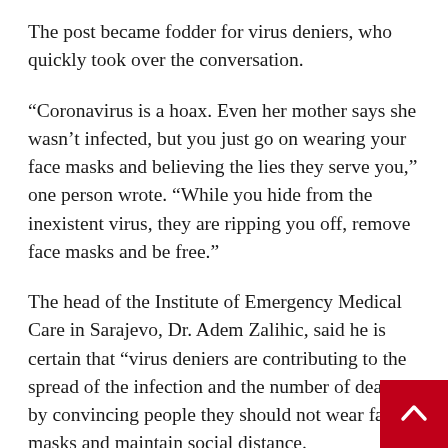The post became fodder for virus deniers, who quickly took over the conversation.
“Coronavirus is a hoax. Even her mother says she wasn’t infected, but you just go on wearing your face masks and believing the lies they serve you,” one person wrote. “While you hide from the inexistent virus, they are ripping you off, remove face masks and be free.”
The head of the Institute of Emergency Medical Care in Sarajevo, Dr. Adem Zalihic, said he is certain that “virus deniers are contributing to the spread of the infection and the number of deaths” by convincing people they should not wear face masks and maintain social distance.
“The virus is among us. It infects and kills people, I